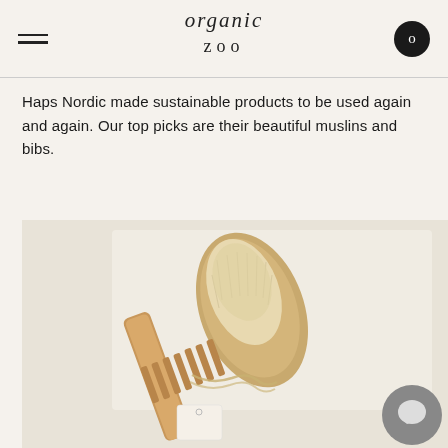organic zoo
Haps Nordic made sustainable products to be used again and again. Our top picks are their beautiful muslins and bibs.
[Figure (photo): Flat lay photo of a wooden baby comb and natural bristle brush tied with twine, on a light beige background.]